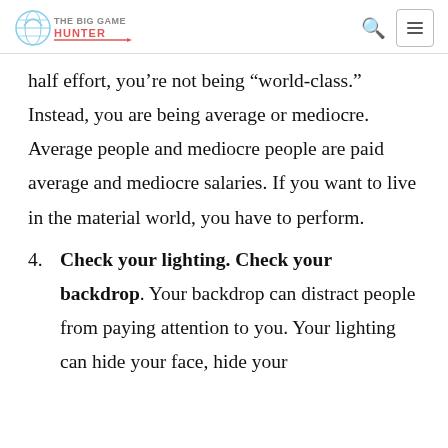THE BIG GAME HUNTER [logo]
half effort, you’re not being “world-class.” Instead, you are being average or mediocre. Average people and mediocre people are paid average and mediocre salaries. If you want to live in the material world, you have to perform.
4. Check your lighting. Check your backdrop. Your backdrop can distract people from paying attention to you. Your lighting can hide your face, hide your